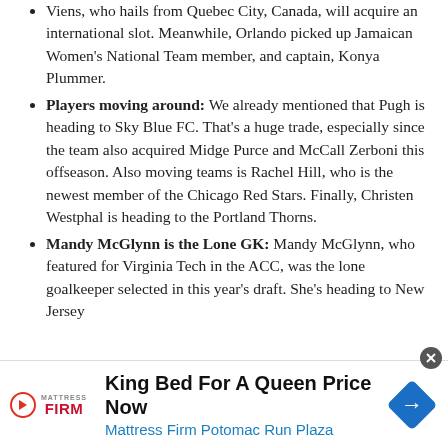Viens, who hails from Quebec City, Canada, will acquire an international slot. Meanwhile, Orlando picked up Jamaican Women's National Team member, and captain, Konya Plummer.
Players moving around: We already mentioned that Pugh is heading to Sky Blue FC. That's a huge trade, especially since the team also acquired Midge Purce and McCall Zerboni this offseason. Also moving teams is Rachel Hill, who is the newest member of the Chicago Red Stars. Finally, Christen Westphal is heading to the Portland Thorns.
Mandy McGlynn is the Lone GK: Mandy McGlynn, who featured for Virginia Tech in the ACC, was the lone goalkeeper selected in this year's draft. She's heading to New Jersey
[Figure (infographic): Advertisement banner for Mattress Firm Potomac Run Plaza with logo, play button icon, and navigation arrow icon. Text reads: King Bed For A Queen Price Now / Mattress Firm Potomac Run Plaza]